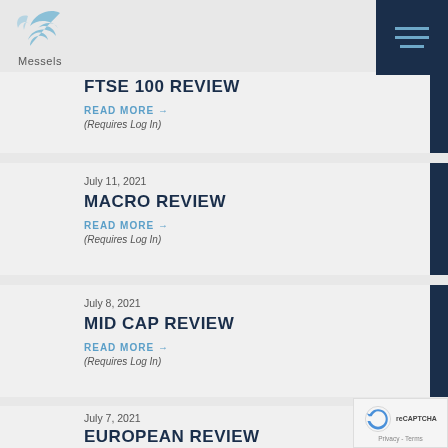Messels
FTSE 100 REVIEW
READ MORE →
(Requires Log In)
July 11, 2021
MACRO REVIEW
READ MORE →
(Requires Log In)
July 8, 2021
MID CAP REVIEW
READ MORE →
(Requires Log In)
July 7, 2021
EUROPEAN REVIEW